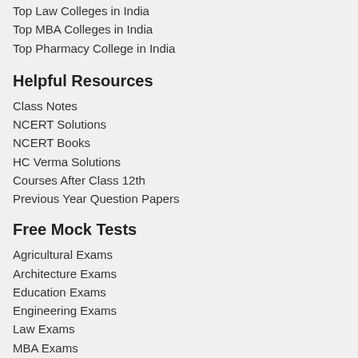Top Law Colleges in India
Top MBA Colleges in India
Top Pharmacy College in India
Helpful Resources
Class Notes
NCERT Solutions
NCERT Books
HC Verma Solutions
Courses After Class 12th
Previous Year Question Papers
Free Mock Tests
Agricultural Exams
Architecture Exams
Education Exams
Engineering Exams
Law Exams
MBA Exams